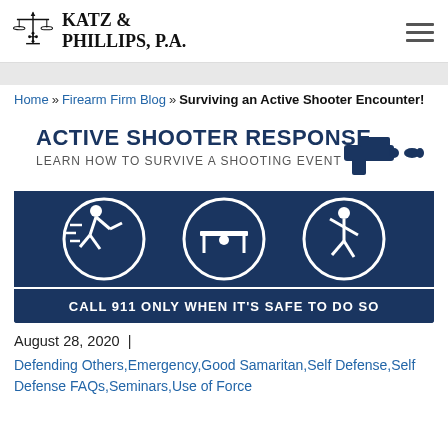KATZ & PHILLIPS, P.A.
Home » Firearm Firm Blog » Surviving an Active Shooter Encounter!
[Figure (infographic): Active Shooter Response infographic showing three response steps: RUN (running figure), HIDE (hiding under table figure), FIGHT (fighting figure), with gun icon, and caption: CALL 911 ONLY WHEN IT'S SAFE TO DO SO]
August 28, 2020  |
Defending Others, Emergency, Good Samaritan, Self Defense, Self Defense FAQs, Seminars, Use of Force